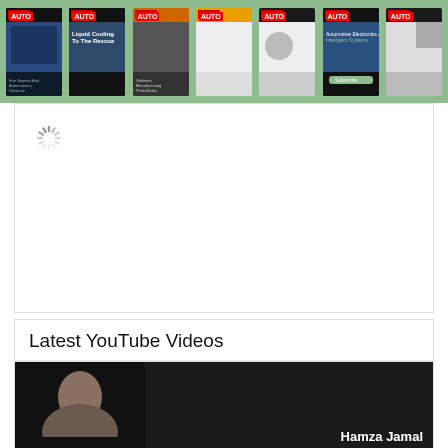[Figure (screenshot): A green banner strip showing 7 magazine covers of AUTO publications arranged horizontally]
[Figure (screenshot): A loading spinner icon (gray dashed circle) in the upper-left of a white content area]
Latest YouTube Videos
[Figure (screenshot): A YouTube video thumbnail showing a person and the name 'Hamza Jamal' on dark background]